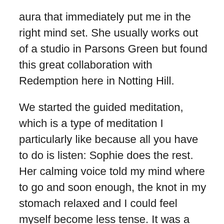aura that immediately put me in the right mind set. She usually works out of a studio in Parsons Green but found this great collaboration with Redemption here in Notting Hill.
We started the guided meditation, which is a type of meditation I particularly like because all you have to do is listen: Sophie does the rest. Her calming voice told my mind where to go and soon enough, the knot in my stomach relaxed and I could feel myself become less tense. It was a lovely 30 minutes. The only thing I would say is that the meditation is done in the restaurant so you do hear the buses go by and you do feel slightly exposed. (I mentioned this to the founders and they are looking into putting up curtains to create a warm cocoon – much better I told them.)